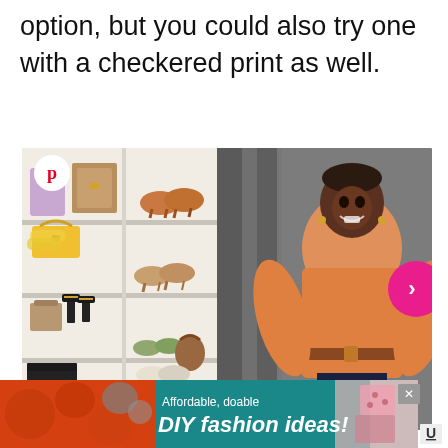option, but you could also try one with a checkered print as well.
[Figure (photo): A smiling woman wearing an orange blouse with a brown belt stands in front of a white display shelf holding accessories including bags, shoes, and jewelry. A Pinterest icon is visible in the top-left corner of the image. A pink arrow navigation button is partially visible on the right edge.]
[Figure (screenshot): Advertisement banner reading 'Affordable, doable DIY fashion ideas!' on a teal background with product images on left and right.]